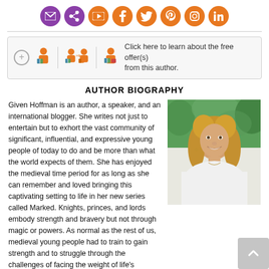[Figure (infographic): Row of social media icons: email (purple), share (purple), YouTube (orange), Facebook (orange), Twitter (orange), Pinterest (orange), Instagram (orange), LinkedIn (orange)]
[Figure (infographic): Offer banner with a plus button, two reader/author icons, and text: Click here to learn about the free offer(s) from this author.]
AUTHOR BIOGRAPHY
[Figure (photo): Photo of Given Hoffman, a young woman with curly blonde hair, smiling, wearing a white sleeveless top, outdoors with green foliage in background.]
Given Hoffman is an author, a speaker, and an international blogger. She writes not just to entertain but to exhort the vast community of significant, influential, and expressive young people of today to do and be more than what the world expects of them. She has enjoyed the medieval time period for as long as she can remember and loved bringing this captivating setting to life in her new series called Marked. Knights, princes, and lords embody strength and bravery but not through magic or powers. As normal as the rest of us, medieval young people had to train to gain strength and to struggle through the challenges of facing the weight of life's responsibilities, the fears of failure, and the sometimes overwhelming possibilities of one's own potential.